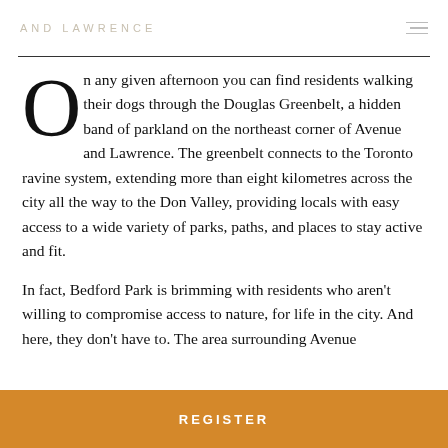AND LAWRENCE
On any given afternoon you can find residents walking their dogs through the Douglas Greenbelt, a hidden band of parkland on the northeast corner of Avenue and Lawrence. The greenbelt connects to the Toronto ravine system, extending more than eight kilometres across the city all the way to the Don Valley, providing locals with easy access to a wide variety of parks, paths, and places to stay active and fit.
In fact, Bedford Park is brimming with residents who aren't willing to compromise access to nature, for life in the city. And here, they don't have to. The area surrounding Avenue
REGISTER